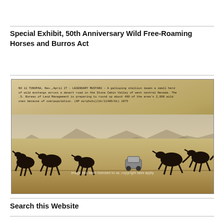Special Exhibit, 50th Anniversary Wild Free-Roaming Horses and Burros Act
[Figure (photo): Vintage black-and-white wire service photograph of a galloping stallion leading a small herd of wild mustangs across a desert road in the Stone Cabin Valley of west central Nevada. A car is visible in the background. The aged photograph has a typewritten caption at the top reading: 'NO 11 TONOPAH, Nev., April 27 – LEGENDARY MUSTANG – A galloping stallion leads a small herd of wild mustangs across a desert road in the Stone Cabin Valley of west central Nevada. The .S. Bureau of Land Management is preparing to round up about 400 of the area's 2,000 wild ones because of overpopulation. (AP airphoto)(bk/ll400/bk) 1975'. A watermark reads 'copyright laws apply'. The photo is mounted on aged yellowed paper with darkened corners.]
Search this Website